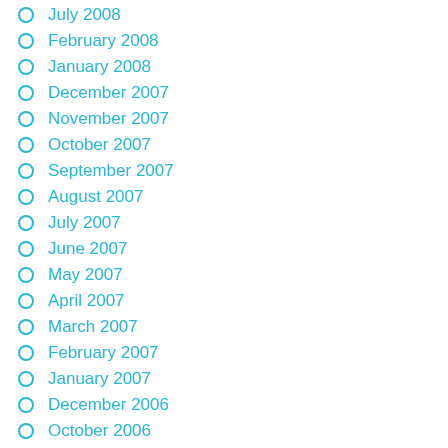July 2008
February 2008
January 2008
December 2007
November 2007
October 2007
September 2007
August 2007
July 2007
June 2007
May 2007
April 2007
March 2007
February 2007
January 2007
December 2006
October 2006
September 2006